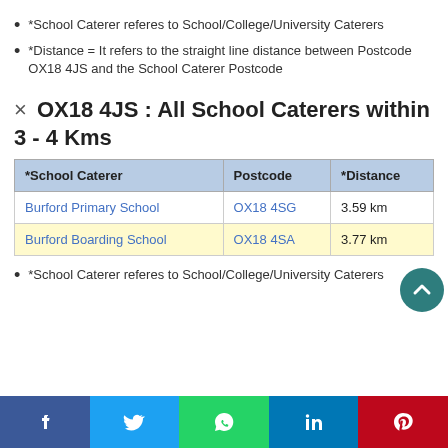*School Caterer referes to School/College/University Caterers
*Distance = It refers to the straight line distance between Postcode OX18 4JS and the School Caterer Postcode
× OX18 4JS : All School Caterers within 3 - 4 Kms
| *School Caterer | Postcode | *Distance |
| --- | --- | --- |
| Burford Primary School | OX18 4SG | 3.59 km |
| Burford Boarding School | OX18 4SA | 3.77 km |
*School Caterer referes to School/College/University Caterers
Facebook | Twitter | WhatsApp | LinkedIn | Pinterest